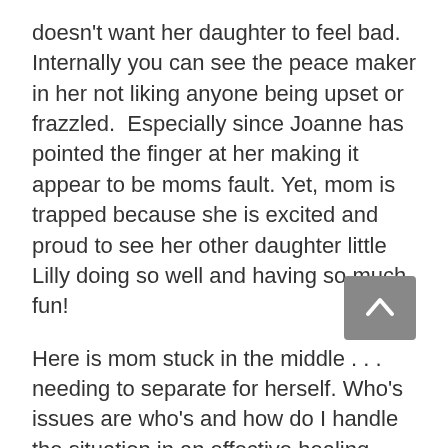doesn't want her daughter to feel bad. Internally you can see the peace maker in her not liking anyone being upset or frazzled.  Especially since Joanne has pointed the finger at her making it appear to be moms fault. Yet, mom is trapped because she is excited and proud to see her other daughter little Lilly doing so well and having so much fun!
Here is mom stuck in the middle . . . needing to separate for herself. Who's issues are who's and how do I handle the situation in an effective healing way?  What she doesn't realize is Joanne is not mad at her. She's mad at her own inability to skate like a rockstar and do a little turn in front of mom to make her proud. She's JEALOUS!  The same exact issue Grandma Marie has with her!!  The bottom line issue is the same. Now Joanne is angry for the qualities she doesn't have (the current one being she did not immediately excel at ice